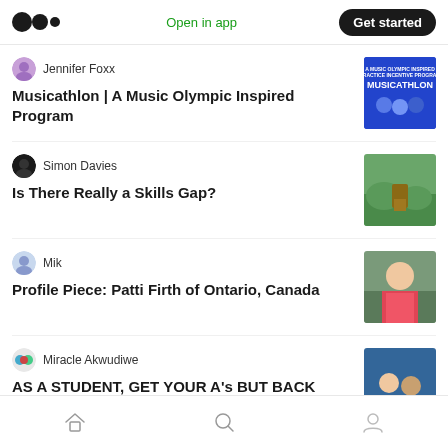Medium app header with logo, Open in app, Get started
Jennifer Foxx
Musicathlon | A Music Olympic Inspired Program
Simon Davies
Is There Really a Skills Gap?
Mik
Profile Piece: Patti Firth of Ontario, Canada
Miracle Akwudiwe
AS A STUDENT, GET YOUR A's BUT BACK THEM UP WITH SENSE
Home | Search | Profile navigation